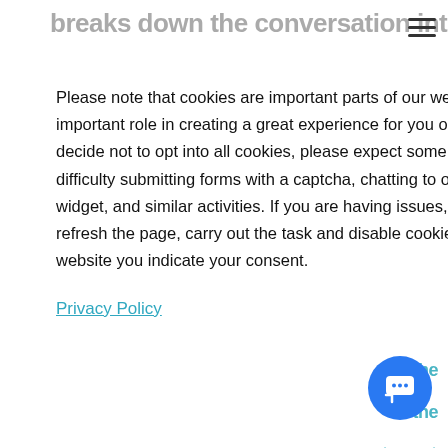[Figure (screenshot): Cookie consent overlay on top of a webpage about conversation/chatbot elements. Behind the overlay are partially visible text fragments including 'breaks down the conversation into small', 'session', 'elements:', 'g of the', 'the', 'target', 'example,', 'ore casual', 'asis', 'ie', and 'chatbot to keep the discussion going'. A hamburger menu icon is visible top-right. A blue horizontal rule appears behind the overlay. A blue chat widget button is in the bottom-right corner.]
Please note that cookies are important parts of our website and all of them play an important role in creating a great experience for you on and off banzai.io. If you decide not to opt into all cookies, please expect some limitations such as having difficulty submitting forms with a captcha, chatting to our team through the help widget, and similar activities. If you are having issues, you can enable all cookies, refresh the page, carry out the task and disable cookies again. By remaining on this website you indicate your consent.
Privacy Policy